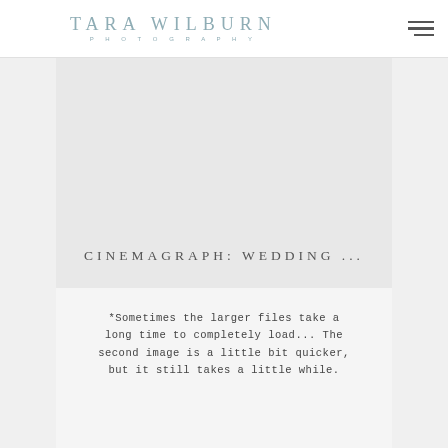TARA WILBURN PHOTOGRAPHY
[Figure (photo): Large image area placeholder (cinemagraph wedding photo)]
CINEMAGRAPH: WEDDING ...
*Sometimes the larger files take a long time to completely load... The second image is a little bit quicker, but it still takes a little while.